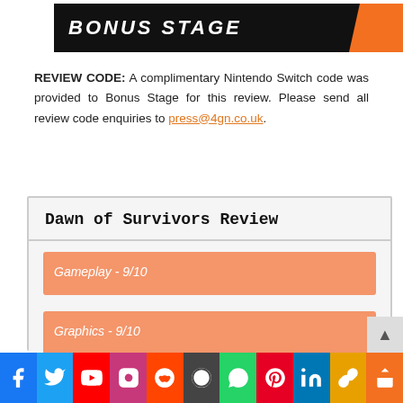[Figure (logo): Bonus Stage logo banner — black diagonal banner with white italic bold text 'BONUS STAGE' and orange accent stripe on right]
REVIEW CODE: A complimentary Nintendo Switch code was provided to Bonus Stage for this review. Please send all review code enquiries to press@4gn.co.uk.
| Dawn of Survivors Review |
| --- |
| Gameplay - 9/10 |
| Graphics - 9/10 |
| Sound - 9/10 |
[Figure (infographic): Social media icon bar at bottom: Facebook, Twitter, YouTube, Instagram, Reddit, WordPress, WhatsApp, Pinterest, LinkedIn, Copy link, Share]